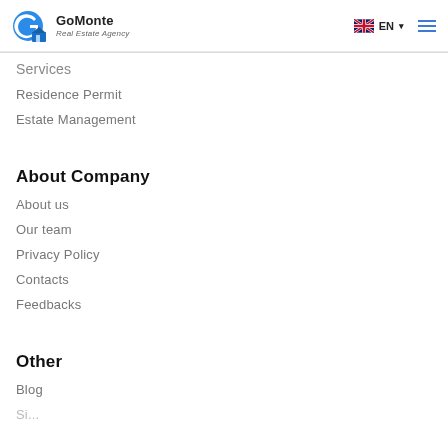GoMonte Real Estate Agency
Services
Residence Permit
Estate Management
About Company
About us
Our team
Privacy Policy
Contacts
Feedbacks
Other
Blog